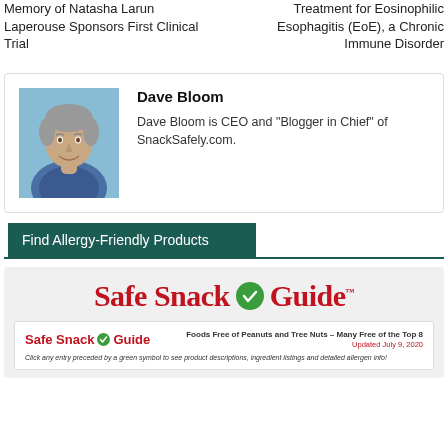Memory of Natasha Larun Laperouse Sponsors First Clinical Trial
Treatment for Eosinophilic Esophagitis (EoE), a Chronic Immune Disorder
Dave Bloom
Dave Bloom is CEO and "Blogger in Chief" of SnackSafely.com.
Find Allergy-Friendly Products
[Figure (logo): Safe Snack Guide logo with red serif text and green checkmark, followed by inner white box showing smaller Safe Snack Guide logo with tagline 'Foods Free of Peanuts and Tree Nuts – Many Free of the Top 8, Updated July 9, 2020' and description 'Click any entry preceded by a green symbol to see product descriptions, ingredient listings and detailed allergen info!']